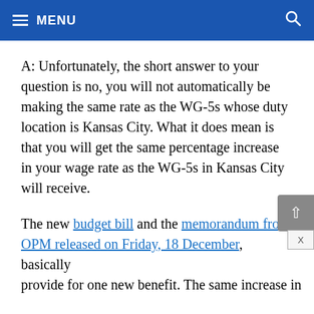MENU
A: Unfortunately, the short answer to your question is no, you will not automatically be making the same rate as the WG-5s whose duty location is Kansas City. What it does mean is that you will get the same percentage increase in your wage rate as the WG-5s in Kansas City will receive.
The new budget bill and the memorandum from OPM released on Friday, 18 December, basically provide for one new benefit. The same increase in